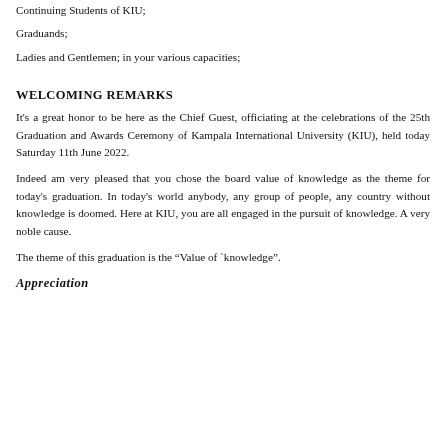Continuing Students of KIU;
Graduands;
Ladies and Gentlemen; in your various capacities;
WELCOMING REMARKS
It's a great honor to be here as the Chief Guest, officiating at the celebrations of the 25th Graduation and Awards Ceremony of Kampala International University (KIU), held today Saturday 11th June 2022.
Indeed am very pleased that you chose the board value of knowledge as the theme for today's graduation. In today's world anybody, any group of people, any country without knowledge is doomed. Here at KIU, you are all engaged in the pursuit of knowledge. A very noble cause.
The theme of this graduation is the “Value of `knowledge”.
Appreciation